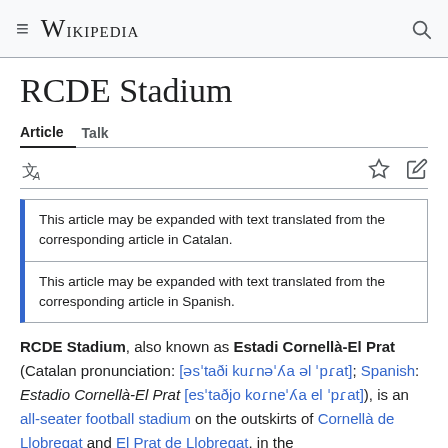≡ WIKIPEDIA 🔍
RCDE Stadium
Article  Talk
This article may be expanded with text translated from the corresponding article in Catalan.
This article may be expanded with text translated from the corresponding article in Spanish.
RCDE Stadium, also known as Estadi Cornellà-El Prat (Catalan pronunciation: [əsˈtaði kuɾnəˈʎa əl ˈpɾat]; Spanish: Estadio Cornellà-El Prat [esˈtaðjo koɾneˈʎa el ˈpɾat]), is an all-seater football stadium on the outskirts of Cornellà de Llobregat and El Prat de Llobregat, in the